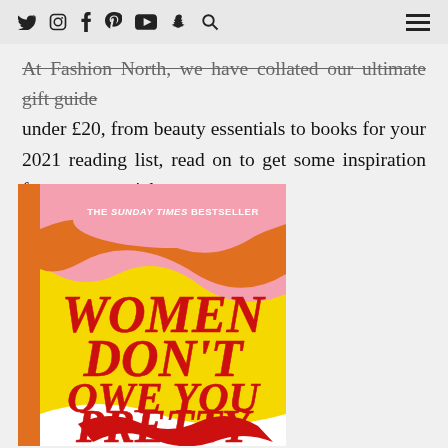social icons: twitter, instagram, facebook, pinterest, youtube, snapchat, search | hamburger menu
At Fashion North, we have collated our ultimate gift guide under £20, from beauty essentials to books for your 2021 reading list, read on to get some inspiration from our top picks.
[Figure (photo): Book cover of 'Women Don't Owe You Pretty' - The Sunday Times Bestseller, with yellow background, bold red text, and pink/orange decorative swirls]